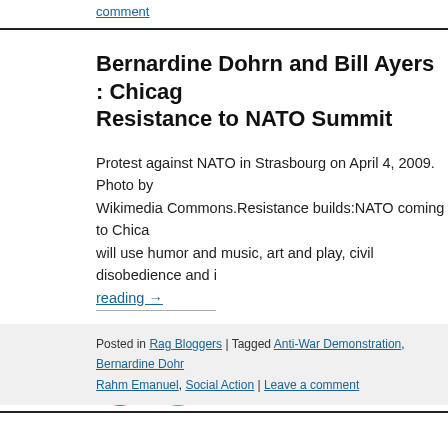comment
Bernardine Dohrn and Bill Ayers : Chicago Resistance to NATO Summit
Protest against NATO in Strasbourg on April 4, 2009. Photo by Wikimedia Commons.Resistance builds:NATO coming to Chica will use humor and music, art and play, civil disobedience and i reading→
Share:
[Figure (illustration): Facebook and Twitter share icon buttons (blue circles with white logos)]
Posted in Rag Bloggers | Tagged Anti-War Demonstration, Bernardine Dohrn, Rahm Emanuel, Social Action | Leave a comment